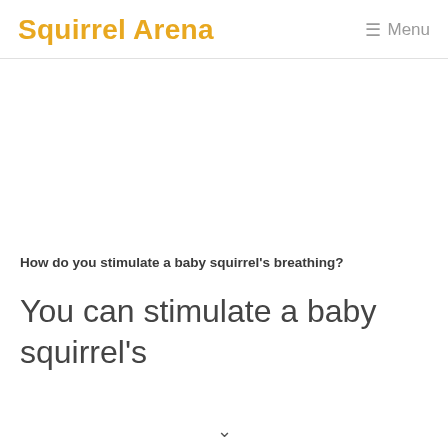Squirrel Arena Menu
How do you stimulate a baby squirrel's breathing?
You can stimulate a baby squirrel's